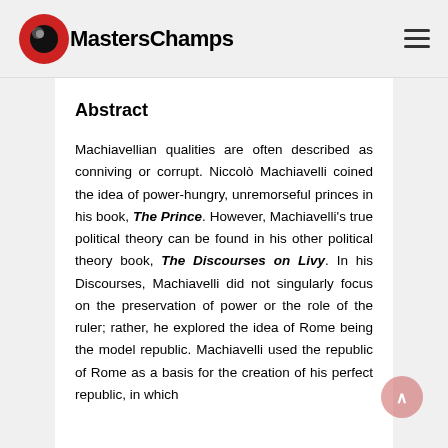MastersChamps
Abstract
Machiavellian qualities are often described as conniving or corrupt. Niccolò Machiavelli coined the idea of power-hungry, unremorseful princes in his book, The Prince. However, Machiavelli's true political theory can be found in his other political theory book, The Discourses on Livy. In his Discourses, Machiavelli did not singularly focus on the preservation of power or the role of the ruler; rather, he explored the idea of Rome being the model republic. Machiavelli used the republic of Rome as a basis for the creation of his perfect republic, in which